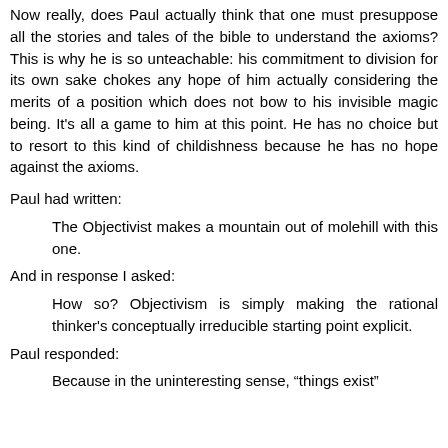Now really, does Paul actually think that one must presuppose all the stories and tales of the bible to understand the axioms? This is why he is so unteachable: his commitment to division for its own sake chokes any hope of him actually considering the merits of a position which does not bow to his invisible magic being. It's all a game to him at this point. He has no choice but to resort to this kind of childishness because he has no hope against the axioms.
Paul had written:
The Objectivist makes a mountain out of molehill with this one.
And in response I asked:
How so? Objectivism is simply making the rational thinker's conceptually irreducible starting point explicit.
Paul responded:
Because in the uninteresting sense, “things exist” is trivially true...